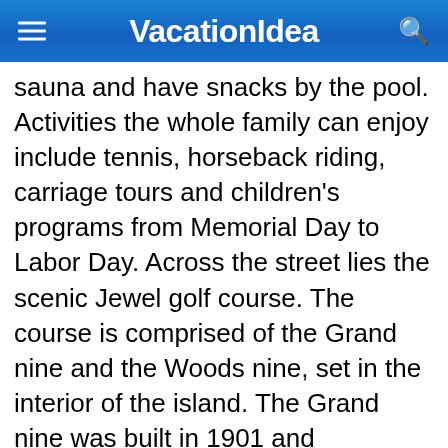VacationIdea
sauna and have snacks by the pool. Activities the whole family can enjoy include tennis, horseback riding, carriage tours and children's programs from Memorial Day to Labor Day. Across the street lies the scenic Jewel golf course. The course is comprised of the Grand nine and the Woods nine, set in the interior of the island. The Grand nine was built in 1901 and redesigned in 1987. The Woods nine was added in 1994, designed by Jerry Matthews. Next read: Best Things to Do on Mackinac Island